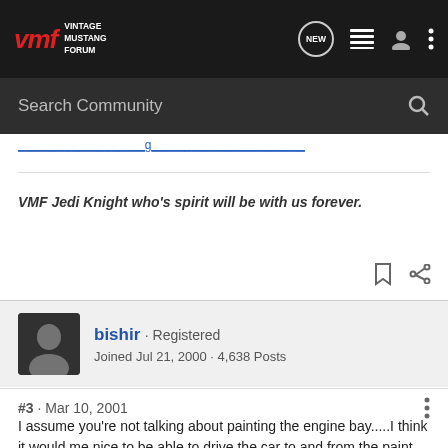VMF Vintage Mustang Forum
Search Community
VMF Jedi Knight who's spirit will be with us forever.
bishir · Registered
Joined Jul 21, 2000 · 4,638 Posts
#3 · Mar 10, 2001
I assume you're not talking about painting the engine bay.....I think it would me nice to be able to drive the car to and from the paint shop especially if you don't have a way to get it there.